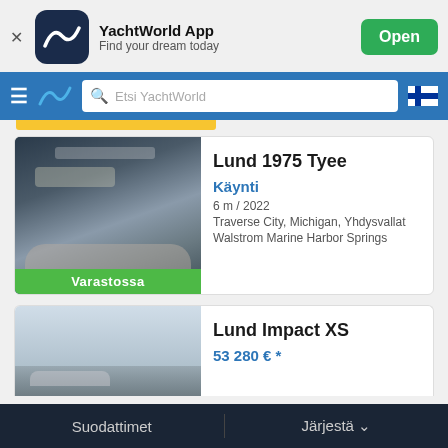[Figure (screenshot): YachtWorld App banner with logo, app name, tagline, and Open button]
[Figure (screenshot): Navigation bar with hamburger menu, YachtWorld logo, search bar with 'Etsi YachtWorld', and Finnish flag icon]
[Figure (photo): Boat listing photo for Lund 1975 Tyee showing interior of a motorboat]
Lund 1975 Tyee
Käynti
6 m / 2022
Traverse City, Michigan, Yhdysvallat
Walstrom Marine Harbor Springs
Varastossa
Lund Impact XS
53 280 € *
Suodattimet    Järjestä ∨